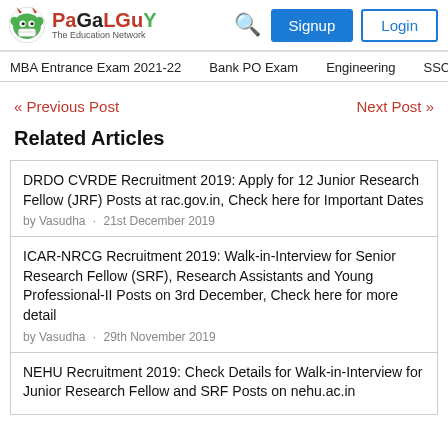PaGaLGuY The Education Network | Signup | Login
MBA Entrance Exam 2021-22 | Bank PO Exam | Engineering | SSC
« Previous Post   Next Post »
Related Articles
DRDO CVRDE Recruitment 2019: Apply for 12 Junior Research Fellow (JRF) Posts at rac.gov.in, Check here for Important Dates
by Vasudha · 21st December 2019
ICAR-NRCG Recruitment 2019: Walk-in-Interview for Senior Research Fellow (SRF), Research Assistants and Young Professional-II Posts on 3rd December, Check here for more detail
by Vasudha · 29th November 2019
NEHU Recruitment 2019: Check Details for Walk-in-Interview for Junior Research Fellow and SRF Posts on nehu.ac.in